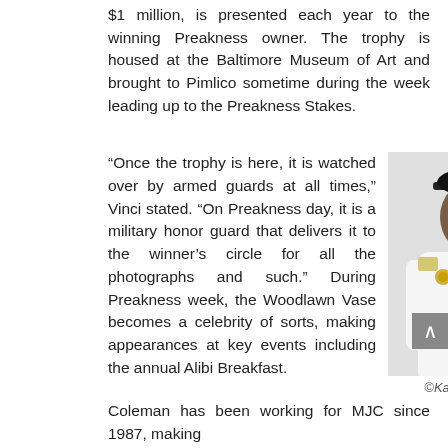$1 million, is presented each year to the winning Preakness owner. The trophy is housed at the Baltimore Museum of Art and brought to Pimlico sometime during the week leading up to the Preakness Stakes.
“Once the trophy is here, it is watched over by armed guards at all times,” Vinci stated. “On Preakness day, it is a military honor guard that delivers it to the winner’s circle for all the photographs and such.” During Preakness week, the Woodlawn Vase becomes a celebrity of sorts, making appearances at key events including the annual Alibi Breakfast.
[Figure (photo): A man in a white uniform shirt with a black tie, red lanyard, and a dark officer's cap with a gold badge, standing against a white background.]
©Katherine Rizzo
Coleman has been working for MJC since 1987, making